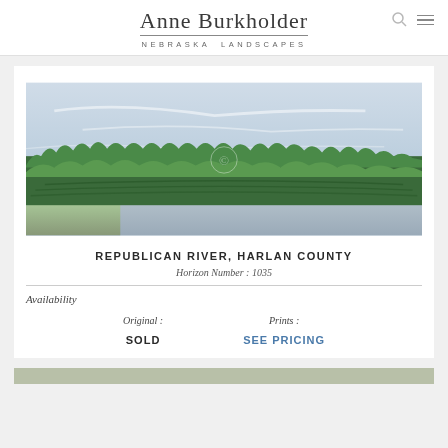Anne Burkholder NEBRASKA LANDSCAPES
[Figure (illustration): Aerial painting of Republican River, Harlan County Nebraska, showing green trees and vegetation along a river with blue-grey water and sky.]
REPUBLICAN RIVER, HARLAN COUNTY
Horizon Number : 1035
Availability
Original : SOLD
Prints : SEE PRICING